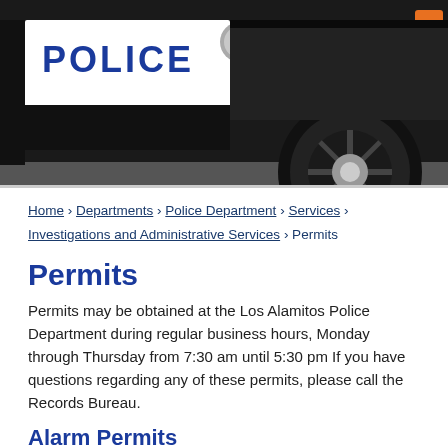[Figure (photo): Police car photo showing the door panel with POLICE text, badge emblem, wheel, and orange light against dark background]
Home › Departments › Police Department › Services › Investigations and Administrative Services › Permits
Permits
Permits may be obtained at the Los Alamitos Police Department during regular business hours, Monday through Thursday from 7:30 am until 5:30 pm If you have questions regarding any of these permits, please call the Records Bureau.
Alarm Permits